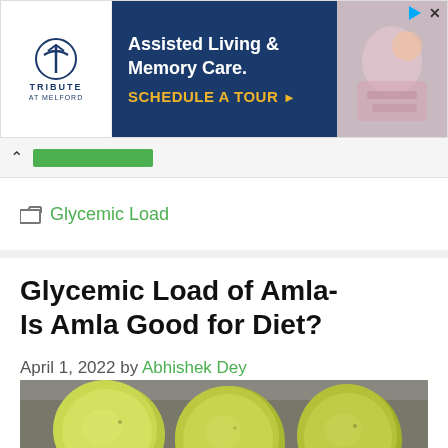[Figure (screenshot): Advertisement banner for Tribute at Melford - Assisted Living & Memory Care with a 'Schedule a Tour' call to action]
Glycemic Load
Glycemic Load of Amla- Is Amla Good for Diet?
April 1, 2022 by Abhishek Dey
[Figure (photo): Three green amla (Indian gooseberry) fruits on a grey surface]